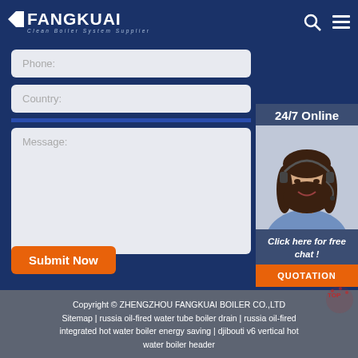FANGKUAI Clean Boiler System Supplier
Phone:
Country:
Message:
Submit Now
[Figure (photo): Customer service representative wearing a headset, smiling. Sidebar with 24/7 Online label, Click here for free chat!, and QUOTATION button.]
Copyright © ZHENGZHOU FANGKUAI BOILER CO.,LTD Sitemap | russia oil-fired water tube boiler drain | russia oil-fired integrated hot water boiler energy saving | djibouti v6 vertical hot water boiler header